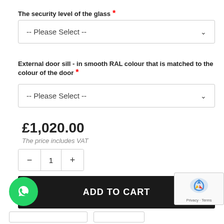The security level of the glass  *
-- Please Select --
External door sill - in smooth RAL colour that is matched to the colour of the door  *
-- Please Select --
£1,020.00
The price includes VAT
1
ADD TO CART
Privacy · Terms